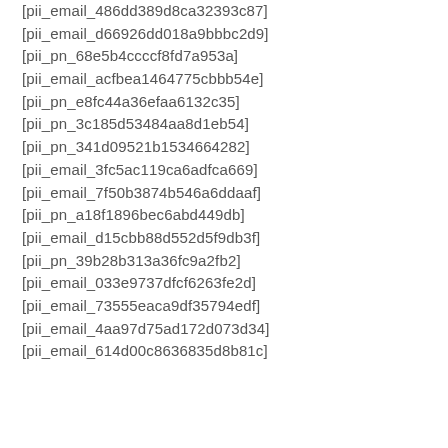[pii_email_486dd389d8ca32393c87]
[pii_email_d66926dd018a9bbbc2d9]
[pii_pn_68e5b4ccccf8fd7a953a]
[pii_email_acfbea1464775cbbb54e]
[pii_pn_e8fc44a36efaa6132c35]
[pii_pn_3c185d53484aa8d1eb54]
[pii_pn_341d09521b1534664282]
[pii_email_3fc5ac119ca6adfca669]
[pii_email_7f50b3874b546a6ddaaf]
[pii_pn_a18f1896bec6abd449db]
[pii_email_d15cbb88d552d5f9db3f]
[pii_pn_39b28b313a36fc9a2fb2]
[pii_email_033e9737dfcf6263fe2d]
[pii_email_73555eaca9df35794edf]
[pii_email_4aa97d75ad172d073d34]
[pii_email_614d00c8636835d8b81c]